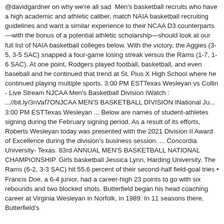@davidgardner on why we're all sad  Men's basketball recruits who have a high academic and athletic caliber, match NAIA basketball recruiting guidelines and want a similar experience to their NCAA D3 counterparts—with the bonus of a potential athletic scholarship—should look at our full list of NAIA basketball colleges below. With the victory, the Aggies (3-5, 3-5 SAC) snapped a four-game losing streak versus the Rams (1-7, 1-6 SAC). At one point, Rodgers played football, basketball, and even baseball and he continued that trend at St. Pius X High School where he continued playing multiple sports. 3:00 PM ESTTexas Wesleyan vs Collin - Live Stream NJCAA Men's Basketball Division IWatch : ...//bit.ly/3nVaf7ONJCAA MEN'S BASKETBALL DIVISION INational Ju... 3:00 PM ESTTexas Wesleyan ... Below are names of student-athletes signing during the February signing period. As a result of its efforts, Roberts Wesleyan today was presented with the 2021 Division II Award of Excellence during the division's business session. ... Concordia University- Texas. 83rd ANNUAL MEN'S BASKETBALL NATIONAL CHAMPIONSHIP. Girls basketball Jessica Lynn, Harding University. The Rams (6-2, 3-3 SAC) hit 55.6 percent of their second-half field-goal tries • Francis Doe, a 6-4 junior, had a career-high 23 points to go with six rebounds and two blocked shots. Butterfield began his head coaching career at Virginia Wesleyan in Norfolk, in 1989. In 11 seasons there, Butterfield's